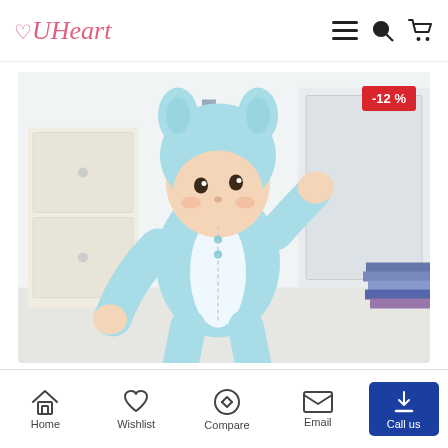VUHeart — navigation header with logo, menu, search, and cart icons
[Figure (photo): Baby wearing a light blue hooded animal onesie/romper (elephant or dog style) standing in a bright white room with a dresser and stacked books in the background. A -12% discount badge is shown in the top right corner of the image.]
Home | Wishlist | Compare | Email | Call us